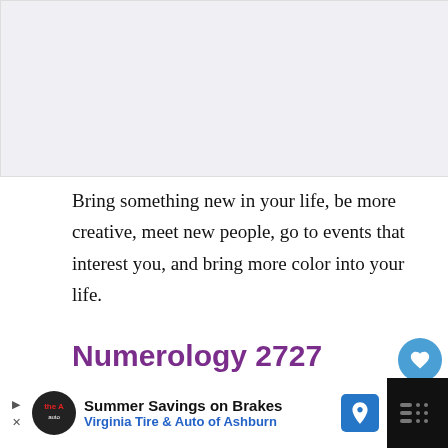[Figure (photo): Decorative image placeholder at top of page, light gray/purple background]
Bring something new in your life, be more creative, meet new people, go to events that interest you, and bring more color into your life.
Numerology 2727
Number 2727 is created by the vibration of numbers 2 and 7; both of them appearing two times makes their vibration become magnified. We also vibration of the number 9 because 2+7+2+7=18, 1+8=9
[Figure (screenshot): WHAT'S NEXT popup showing Angel Number 66666... with small circular image]
[Figure (screenshot): Bottom advertisement bar: Summer Savings on Brakes - Virginia Tire & Auto of Ashburn]